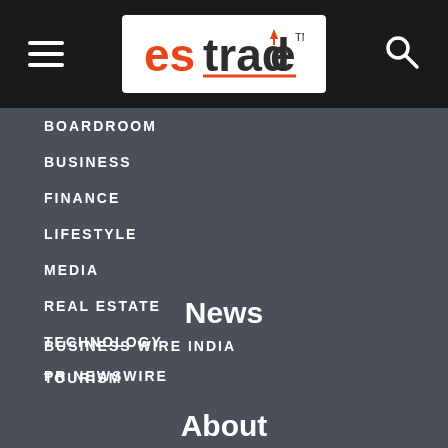estrade™ — navigation header with hamburger menu and search icon
BOARDROOM
BUSINESS
FINANCE
LIFESTYLE
MEDIA
REAL ESTATE
TECHNOLOGY
TOURISM
News
BUSINESS WIRE INDIA
PR NEWSWIRE
About